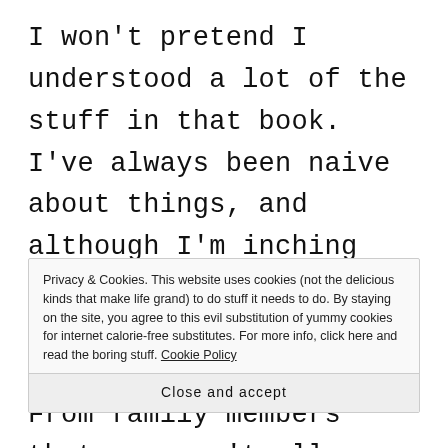I won't pretend I understood a lot of the stuff in that book. I've always been naive about things, and although I'm inching closer to fifty every day, that hasn't changed over the years. From family members that you can't allow your kids
Privacy & Cookies. This website uses cookies (not the delicious kinds that make life grand) to do stuff it needs to do. By staying on the site, you agree to this evil substitution of yummy cookies for internet calorie-free substitutes. For more info, click here and read the boring stuff. Cookie Policy
Close and accept